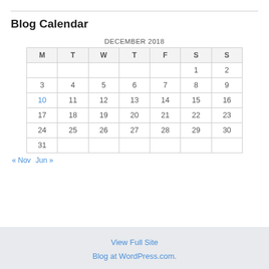Blog Calendar
| M | T | W | T | F | S | S |
| --- | --- | --- | --- | --- | --- | --- |
|  |  |  |  |  | 1 | 2 |
| 3 | 4 | 5 | 6 | 7 | 8 | 9 |
| 10 | 11 | 12 | 13 | 14 | 15 | 16 |
| 17 | 18 | 19 | 20 | 21 | 22 | 23 |
| 24 | 25 | 26 | 27 | 28 | 29 | 30 |
| 31 |  |  |  |  |  |  |
« Nov   Jun »
View Full Site
Blog at WordPress.com.